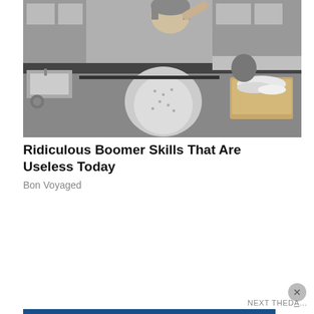[Figure (photo): Black and white vintage photo of a woman in a floral apron in a kitchen, with a basket of laundry on the counter, looking stressed or thoughtful.]
Ridiculous Boomer Skills That Are Useless Today
Bon Voyaged
Privacy & Cookies: This site uses cookies. By continuing to use this website, you agree to their use.
To find out more, including how to control cookies, see here: Cookie Policy
Close and accept